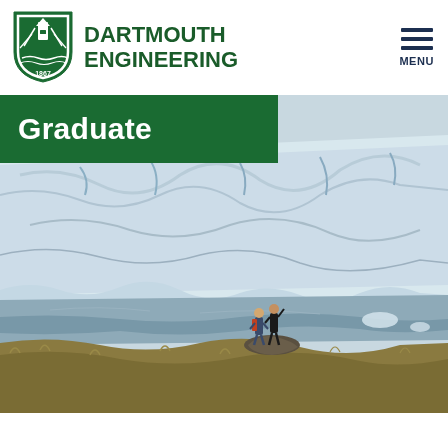DARTMOUTH ENGINEERING
Graduate
[Figure (photo): Two people standing on a rock by a glacial lake with a large glacier wall in the background]
Home  |  Graduate